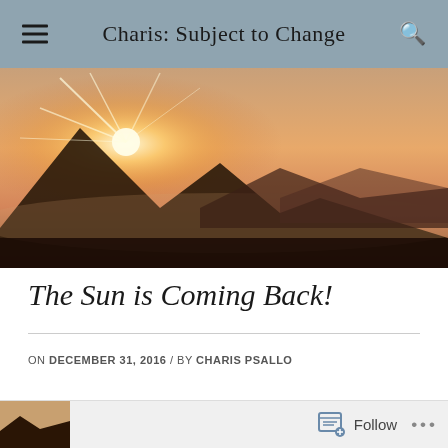Charis: Subject to Change
[Figure (photo): Panoramic sunrise photo with sun rays bursting over a mountain silhouette, orange and pink sky, misty valley below]
The Sun is Coming Back!
ON DECEMBER 31, 2016 / BY CHARIS PSALLO
[Figure (screenshot): Bottom follow bar with Follow button and ellipsis menu, partially visible blog image on the left]